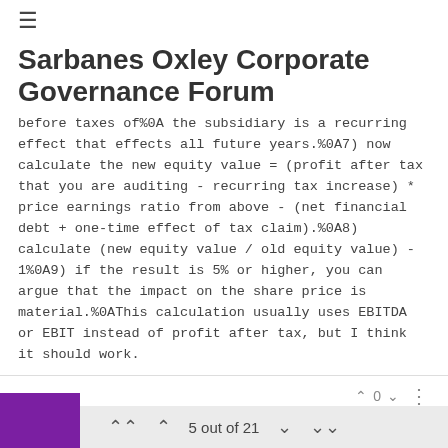≡
Sarbanes Oxley Corporate Governance Forum
before taxes of%0A the subsidiary is a recurring effect that effects all future years.%0A7) now calculate the new equity value = (profit after tax that you are auditing - recurring tax increase) * price earnings ratio from above - (net financial debt + one-time effect of tax claim).%0A8) calculate (new equity value / old equity value) - 1%0A9) if the result is 5% or higher, you can argue that the impact on the share price is material.%0AThis calculation usually uses EBITDA or EBIT instead of profit after tax, but I think it should work.
^ 0 v ⋮
This website uses cookies to ensure you get the best
5 out of 21